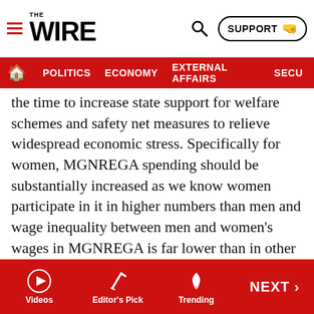The Wire — navigation header with SUPPORT button
POLITICS | ECONOMY | EXTERNAL AFFAIRS | SECU...
the time to increase state support for welfare schemes and safety net measures to relieve widespread economic stress. Specifically for women, MGNREGA spending should be substantially increased as we know women participate in it in higher numbers than men and wage inequality between men and women's wages in MGNREGA is far lower than in other jobs.
Also read: South Asian Domestic Violence Survivors in Silicon Valley Grapple With COVID-19 Lockdown
There is a need to strengthen and empower local governance systems. Many response initiatives have to be
Videos | Editor's Pick | Trending | NEXT >